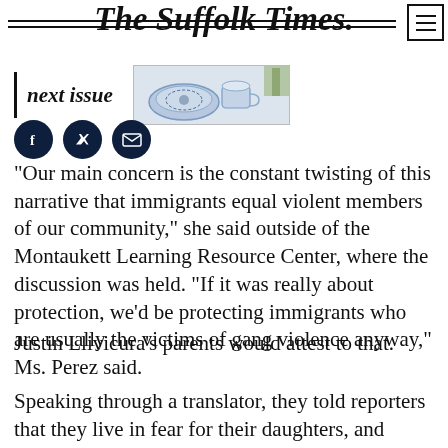The Suffolk Times.
[Figure (illustration): next issue banner with photo of dishes/teacups]
[Figure (infographic): Three dark circular social media icons: Facebook, Twitter, Email]
“Our main concern is the constant twisting of this narrative that immigrants equal violent members of our community,” she said outside of the Montaukett Learning Resource Center, where the discussion was held. “If it was really about protection, we’d be protecting immigrants who are usually the victims of gang violence anyway,” Ms. Perez said.
Justin Llivicura’s parents would attest to that.
Speaking through a translator, they told reporters that they live in fear for their daughters, and called on law